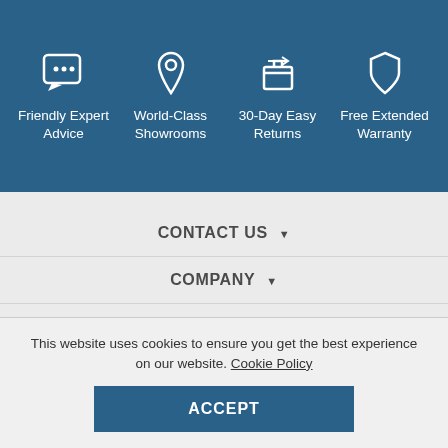[Figure (infographic): Blue banner with four icons and labels: Friendly Expert Advice (chat/question icon), World-Class Showrooms (location pin icon), 30-Day Easy Returns (box return icon), Free Extended Warranty (shield icon)]
CONTACT US ▼
COMPANY ▼
ACCOUNT ▼
ORDERS & RETURNS ▼
PAYMENT OPTIONS ▼
SERVICES ▼
This website uses cookies to ensure you get the best experience on our website. Cookie Policy
ACCEPT